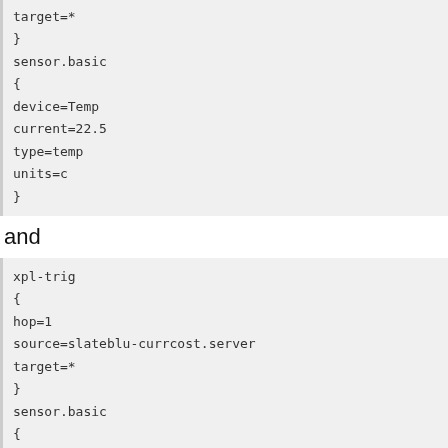target=*
}
sensor.basic
{
device=Temp
current=22.5
type=temp
units=c
}
and
xpl-trig
{
hop=1
source=slateblu-currcost.server
target=*
}
sensor.basic
{
device=Ch1
current=00938
type=power